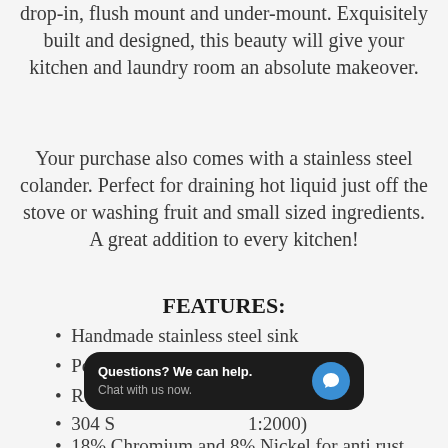drop-in, flush mount and under-mount. Exquisitely built and designed, this beauty will give your kitchen and laundry room an absolute makeover.
Your purchase also comes with a stainless steel colander. Perfect for draining hot liquid just off the stove or washing fruit and small sized ingredients. A great addition to every kitchen!
FEATURES:
Handmade stainless steel sink
Perfect to fit in kitchen and laundry
R0 S[...] cleaning
304 S[...] 1:2000)
18% Chromium and 8% Nickel for anti rust